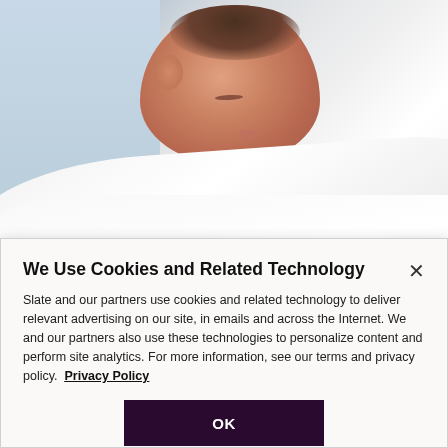[Figure (photo): A newborn baby sleeping, held against a person wearing white clothing, with a soft blueish background]
This mother is baby-friendly, regardless of whether her hospital
We Use Cookies and Related Technology
Slate and our partners use cookies and related technology to deliver relevant advertising on our site, in emails and across the Internet. We and our partners also use these technologies to personalize content and perform site analytics. For more information, see our terms and privacy policy.  Privacy Policy
OK